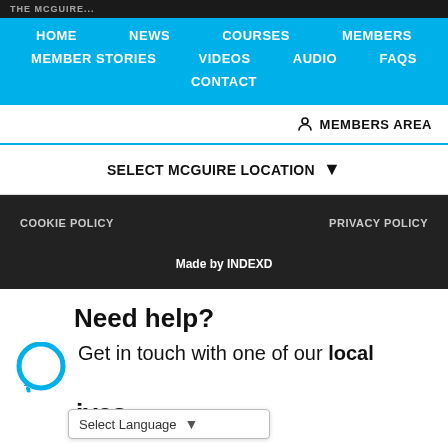HOME | NEWS | COURSES | MEMBERS | MEMBER STORIES | VIDEOS | AUDIO | FAQS | CONTACT
MEMBERS AREA
SELECT MCGUIRE LOCATION ▼
COOKIE POLICY   PRIVACY POLICY
Made by INDEXD
Need help?
Get in touch with one of our local representatives.
Select Language